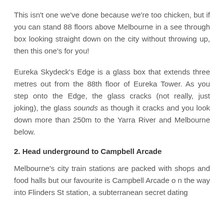This isn't one we've done because we're too chicken, but if you can stand 88 floors above Melbourne in a see through box looking straight down on the city without throwing up, then this one's for you!
Eureka Skydeck's Edge is a glass box that extends three metres out from the 88th floor of Eureka Tower. As you step onto the Edge, the glass cracks (not really, just joking), the glass sounds as though it cracks and you look down more than 250m to the Yarra River and Melbourne below.
2. Head underground to Campbell Arcade
Melbourne's city train stations are packed with shops and food halls but our favourite is Campbell Arcade o n the way into Flinders St station, a subterranean secret dating